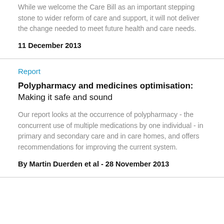While we welcome the Care Bill as an important stepping stone to wider reform of care and support, it will not deliver the change needed to meet future health and care needs.
11 December 2013
Report
Polypharmacy and medicines optimisation: Making it safe and sound
Our report looks at the occurrence of polypharmacy - the concurrent use of multiple medications by one individual - in primary and secondary care and in care homes, and offers recommendations for improving the current system.
By Martin Duerden et al - 28 November 2013